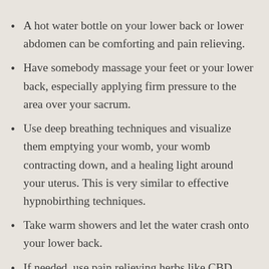A hot water bottle on your lower back or lower abdomen can be comforting and pain relieving.
Have somebody massage your feet or your lower back, especially applying firm pressure to the area over your sacrum.
Use deep breathing techniques and visualize them emptying your womb, your womb contracting down, and a healing light around your uterus. This is very similar to effective hypnobirthing techniques.
Take warm showers and let the water crash onto your lower back.
If needed, use pain relieving herbs like CBD,